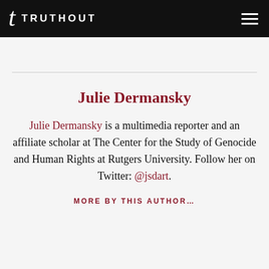TRUTHOUT
Julie Dermansky
Julie Dermansky is a multimedia reporter and an affiliate scholar at The Center for the Study of Genocide and Human Rights at Rutgers University. Follow her on Twitter: @jsdart.
MORE BY THIS AUTHOR…